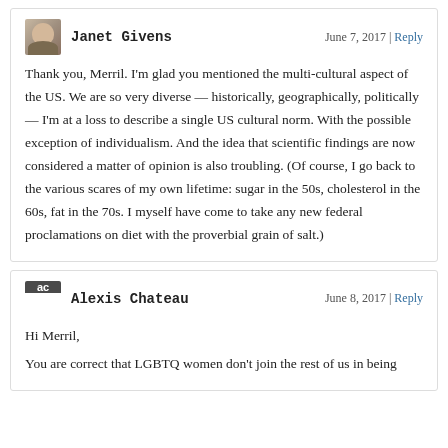Janet Givens — June 7, 2017 | Reply
Thank you, Merril. I'm glad you mentioned the multi-cultural aspect of the US. We are so very diverse — historically, geographically, politically — I'm at a loss to describe a single US cultural norm. With the possible exception of individualism. And the idea that scientific findings are now considered a matter of opinion is also troubling. (Of course, I go back to the various scares of my own lifetime: sugar in the 50s, cholesterol in the 60s, fat in the 70s. I myself have come to take any new federal proclamations on diet with the proverbial grain of salt.)
Alexis Chateau — June 8, 2017 | Reply
Hi Merril,
You are correct that LGBTQ women don't join the rest of us in being